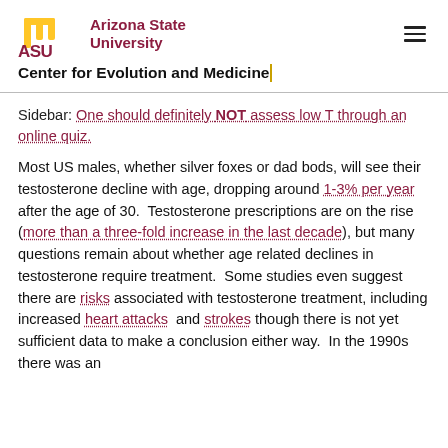Arizona State University — Center for Evolution and Medicine
Sidebar: One should definitely NOT assess low T through an online quiz.
Most US males, whether silver foxes or dad bods, will see their testosterone decline with age, dropping around 1-3% per year after the age of 30. Testosterone prescriptions are on the rise (more than a three-fold increase in the last decade), but many questions remain about whether age related declines in testosterone require treatment. Some studies even suggest there are risks associated with testosterone treatment, including increased heart attacks and strokes though there is not yet sufficient data to make a conclusion either way. In the 1990s there was an